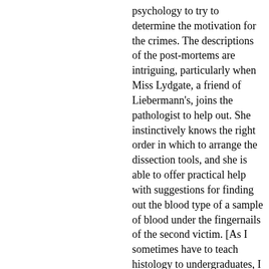psychology to try to determine the motivation for the crimes. The descriptions of the post-mortems are intriguing, particularly when Miss Lydgate, a friend of Liebermann's, joins the pathologist to help out. She instinctively knows the right order in which to arrange the dissection tools, and she is able to offer practical help with suggestions for finding out the blood type of a sample of blood under the fingernails of the second victim. [As I sometimes have to teach histology to undergraduates, I particularly liked the description of her use of hemotoxylin (which would have been available at the time) to stain a vaginal sample from the third victim to look for sperm cells under the microscope.] Dr Liebermann uses his knowledge of psychology well, not only to understand the motivations behind the main murderer in the book, but also to treat Rainmayr, and discover what is behind his apparent madness. Liebermann even has some interesting and useful discussions with Freud himself at a couple of points in the book.